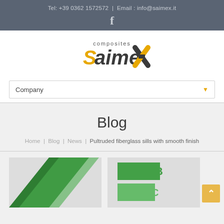Tel: +39 0362 1572572 | Email : info@saimex.it
[Figure (logo): Composites Saimex logo with yellow S and dark X]
Company
Blog
Home | Blog | News | Pultruded fiberglass sills with smooth finish
[Figure (photo): Two partially visible card thumbnails at bottom of page]